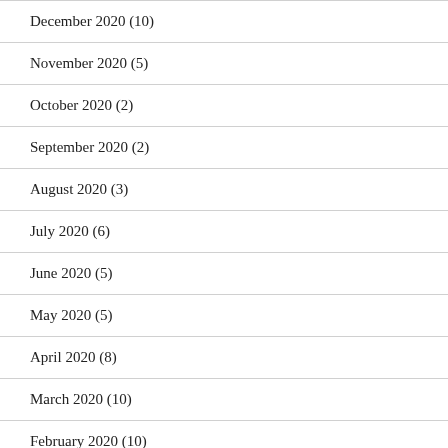December 2020 (10)
November 2020 (5)
October 2020 (2)
September 2020 (2)
August 2020 (3)
July 2020 (6)
June 2020 (5)
May 2020 (5)
April 2020 (8)
March 2020 (10)
February 2020 (10)